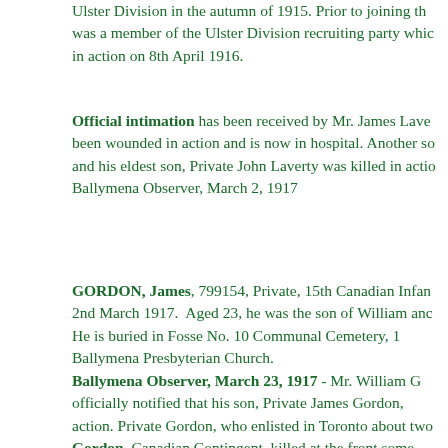Ulster Division in the autumn of 1915. Prior to joining th was a member of the Ulster Division recruiting party whic in action on 8th April 1916.
Official intimation has been received by Mr. James Lave been wounded in action and is now in hospital. Another so and his eldest son, Private John Laverty was killed in actio Ballymena Observer, March 2, 1917
GORDON, James, 799154, Private, 15th Canadian Infan 2nd March 1917. Aged 23, he was the son of William anc He is buried in Fosse No. 10 Communal Cemetery, Ballymena Presbyterian Church. Ballymena Observer, March 23, 1917 - Mr. William G officially notified that his son, Private James Gordon, action. Private Gordon, who enlisted in Toronto about two Gordon, Canadian Contingent, killed at the front some